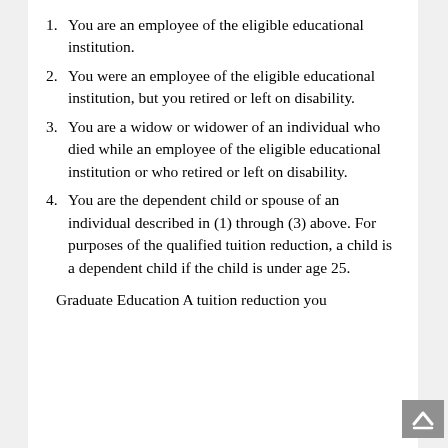1. You are an employee of the eligible educational institution.
2. You were an employee of the eligible educational institution, but you retired or left on disability.
3. You are a widow or widower of an individual who died while an employee of the eligible educational institution or who retired or left on disability.
4. You are the dependent child or spouse of an individual described in (1) through (3) above. For purposes of the qualified tuition reduction, a child is a dependent child if the child is under age 25.
Graduate Education A tuition reduction you